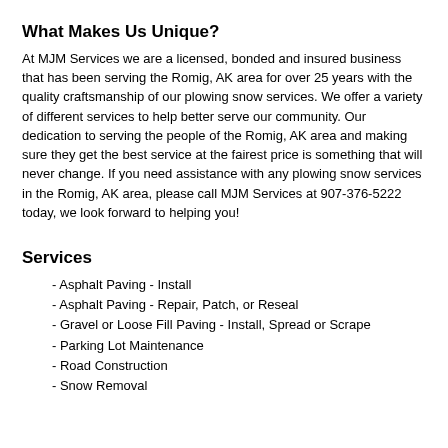What Makes Us Unique?
At MJM Services we are a licensed, bonded and insured business that has been serving the Romig, AK area for over 25 years with the quality craftsmanship of our plowing snow services. We offer a variety of different services to help better serve our community. Our dedication to serving the people of the Romig, AK area and making sure they get the best service at the fairest price is something that will never change. If you need assistance with any plowing snow services in the Romig, AK area, please call MJM Services at 907-376-5222 today, we look forward to helping you!
Services
- Asphalt Paving - Install
- Asphalt Paving - Repair, Patch, or Reseal
- Gravel or Loose Fill Paving - Install, Spread or Scrape
- Parking Lot Maintenance
- Road Construction
- Snow Removal